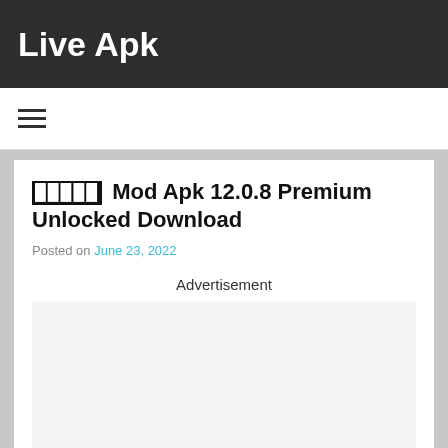Live Apk
[Figure (other): Hamburger menu icon (three horizontal lines)]
XXXXX Mod Apk 12.0.8 Premium Unlocked Download
Posted on June 23, 2022
Advertisement